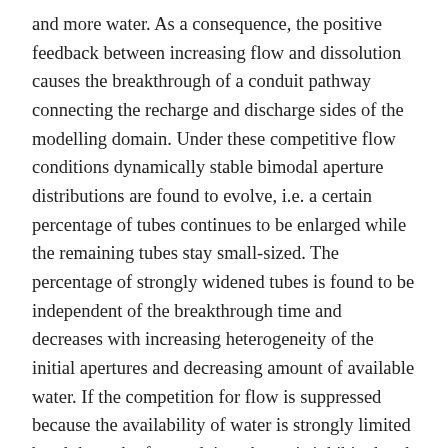and more water. As a consequence, the positive feedback between increasing flow and dissolution causes the breakthrough of a conduit pathway connecting the recharge and discharge sides of the modelling domain. Under these competitive flow conditions dynamically stable bimodal aperture distributions are found to evolve, i.e. a certain percentage of tubes continues to be enlarged while the remaining tubes stay small-sized. The percentage of strongly widened tubes is found to be independent of the breakthrough time and decreases with increasing heterogeneity of the initial apertures and decreasing amount of available water. If the competition for flow is suppressed because the availability of water is strongly limited breakthrough of a conduit pathway is inhibited and the conduit pathways widen very slowly. The resulting aperture distributions are found to be unimodal covering some orders of magnitudes in size. Under these suppressed flow conditions the entire range of apertures continues to be